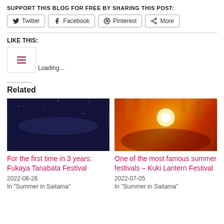SUPPORT THIS BLOG FOR FREE BY SHARING THIS POST:
Twitter  Facebook  Pinterest  More
LIKE THIS:
Loading...
Related
[Figure (photo): Night sky with Milky Way, dark blue tones]
For the first time in 3 years: Fukaya Tanabata Festival
2022-06-26
In "Summer in Saitama"
[Figure (photo): Crowded Japanese lantern festival with bright lights and people]
One of the most famous summer festivals – Kuki Lantern Festival
2022-07-05
In "Summer in Saitama"